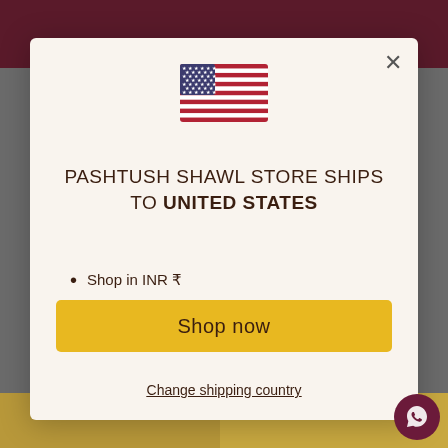[Figure (screenshot): Website modal popup for Pashtush Shawl Store showing US flag, shipping information, and shop now button. Background shows dark maroon header and bottom strips.]
PASHTUSH SHAWL STORE SHIPS TO UNITED STATES
Shop in INR ₹
Get shipping options for United States
Shop now
Change shipping country